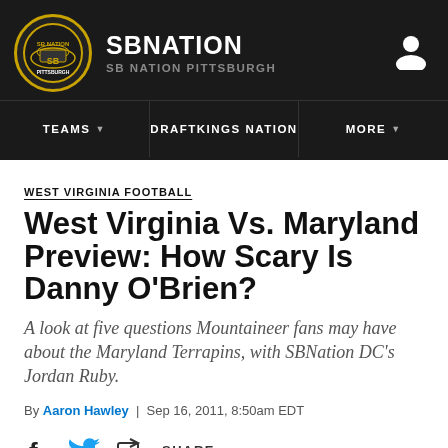SB NATION / SB NATION PITTSBURGH
WEST VIRGINIA FOOTBALL
West Virginia Vs. Maryland Preview: How Scary Is Danny O'Brien?
A look at five questions Mountaineer fans may have about the Maryland Terrapins, with SBNation DC's Jordan Ruby.
By Aaron Hawley | Sep 16, 2011, 8:50am EDT
SHARE